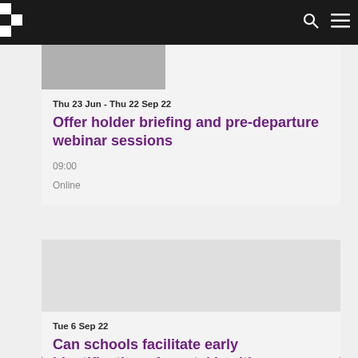Navigation bar with logo and search/menu icons
Thu 23 Jun - Thu 22 Sep 22
Offer holder briefing and pre-departure webinar sessions
09:00
Online
Tue 6 Sep 22
Can schools facilitate early identification of mental health difficulties?